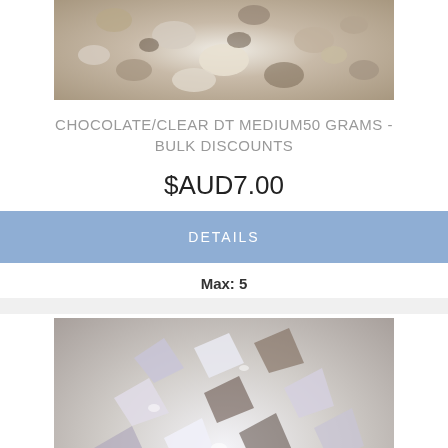[Figure (photo): Top portion of product image showing chocolate/clear crushed rock or glass fragments on white background]
CHOCOLATE/CLEAR DT MEDIUM50 GRAMS - BULK DISCOUNTS
$AUD7.00
DETAILS
Max: 5
[Figure (photo): Product image showing chocolate/white crushed glass or rock fragments, mixed clear and brown pieces]
CHOCOLATE/WHITE DT MEDIUM50 GRAMS -